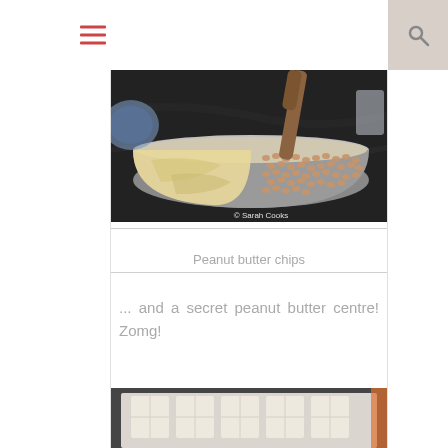[Figure (photo): A mixing bowl on a dark marble counter with batter and peanut butter chips being added, wooden spoon visible. Watermark reads © Sarah Cooks]
Peanut butter chips
... and a secret peanut butter centre! Zomg!
[Figure (photo): Bottom portion of a photo showing what appears to be cookie dough or pastry preparations on a light surface]